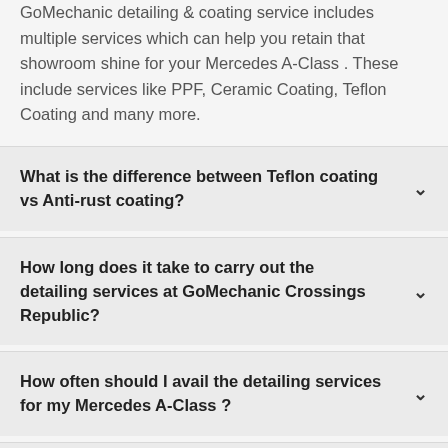GoMechanic detailing & coating service includes multiple services which can help you retain that showroom shine for your Mercedes A-Class . These include services like PPF, Ceramic Coating, Teflon Coating and many more.
What is the difference between Teflon coating vs Anti-rust coating?
How long does it take to carry out the detailing services at GoMechanic Crossings Republic?
How often should I avail the detailing services for my Mercedes A-Class ?
Is there a warranty on my Mercedes A-Class detailing service?